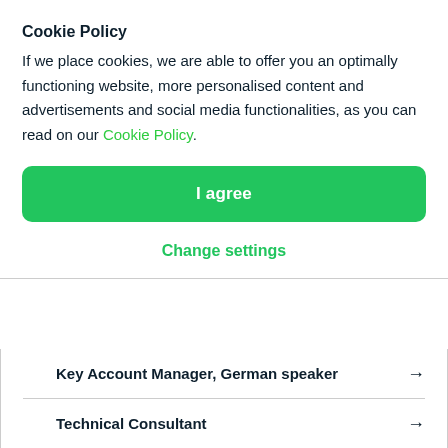Cookie Policy
If we place cookies, we are able to offer you an optimally functioning website, more personalised content and advertisements and social media functionalities, as you can read on our Cookie Policy.
I agree
Change settings
Key Account Manager, German speaker →
Technical Consultant →